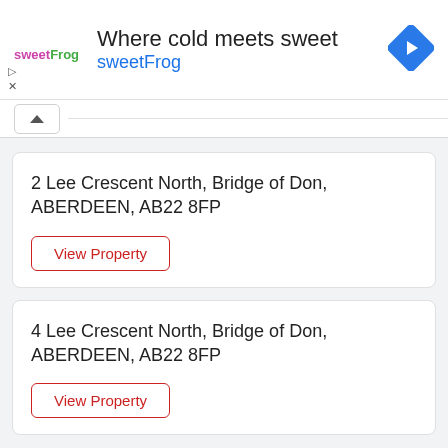[Figure (infographic): sweetFrog advertisement banner: logo with text 'sweetFrog', headline 'Where cold meets sweet', subtitle 'sweetFrog' in blue, navigation arrow icon on right, play and close controls on left]
2 Lee Crescent North, Bridge of Don, ABERDEEN, AB22 8FP
View Property
4 Lee Crescent North, Bridge of Don, ABERDEEN, AB22 8FP
View Property